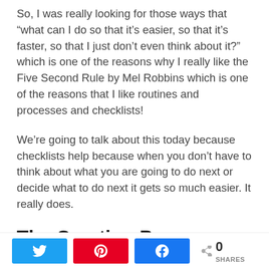So, I was really looking for those ways that “what can I do so that it’s easier, so that it’s faster, so that I just don’t even think about it?” which is one of the reasons why I really like the Five Second Rule by Mel Robbins which is one of the reasons that I like routines and processes and checklists!
We’re going to talk about this today because checklists help because when you don’t have to think about what you are going to do next or decide what to do next it gets so much easier. It really does.
The Creation Process
So today is day two of this and we’re going to talk
Twitter share | Pinterest share | Facebook share | 0 SHARES